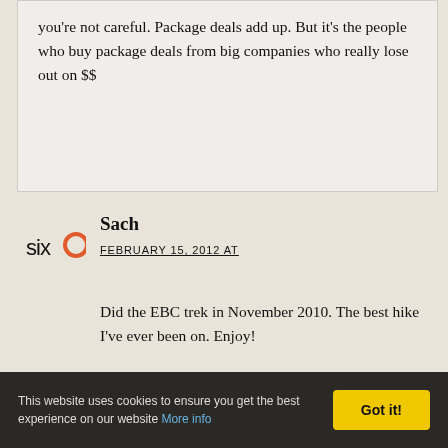you're not careful. Package deals add up. But it's the people who buy package deals from big companies who really lose out on $$
[Figure (logo): SixO website avatar/logo — letters 'six' followed by an orange circle]
Sach
FEBRUARY 15, 2012 AT
Did the EBC trek in November 2010. The best hike I've ever been on. Enjoy!
This website uses cookies to ensure you get the best experience on our website More info